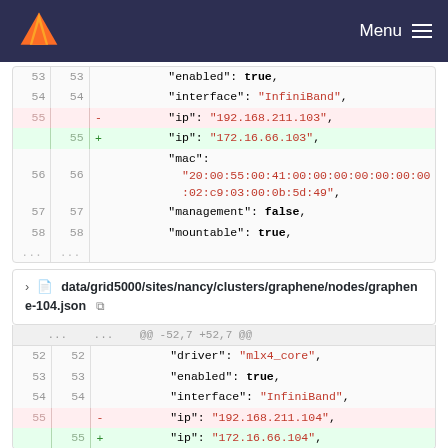Menu
[Figure (screenshot): Code diff showing JSON file changes: lines 53-58 and ellipsis, with line 55 showing ip changed from 192.168.211.103 to 172.16.66.103]
data/grid5000/sites/nancy/clusters/graphene/nodes/graphene-104.json
[Figure (screenshot): Code diff showing JSON file changes: lines 52-55+ with line 55 showing ip changed from 192.168.211.104 to 172.16.66.104]